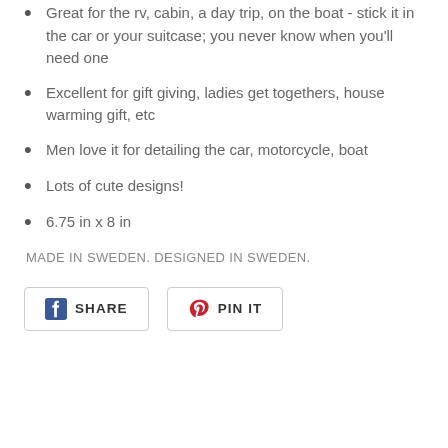Great for the rv, cabin, a day trip, on the boat - stick it in the car or your suitcase; you never know when you'll need one
Excellent for gift giving, ladies get togethers, house warming gift, etc
Men love it for detailing the car, motorcycle, boat
Lots of cute designs!
6.75 in x 8 in
MADE IN SWEDEN. DESIGNED IN SWEDEN.
[Figure (other): Social sharing buttons: SHARE (Facebook) and PIN IT (Pinterest)]